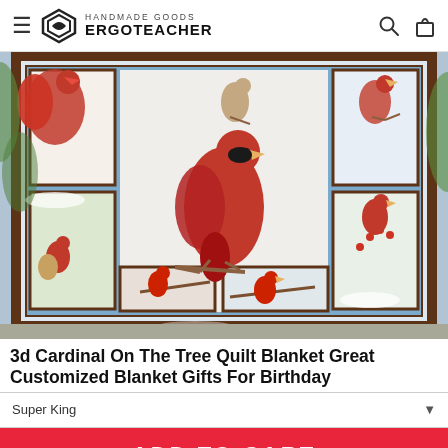HANDMADE GOODS ERGOTEACHER
[Figure (photo): A quilt blanket featuring 3D cardinal birds on trees, displayed outdoors on a concrete surface with green foliage in the background. The quilt has multiple panels each showing different cardinal bird scenes with snowy and nature settings, framed with a brown border.]
3d Cardinal On The Tree Quilt Blanket Great Customized Blanket Gifts For Birthday
Super King
ADD TO CART